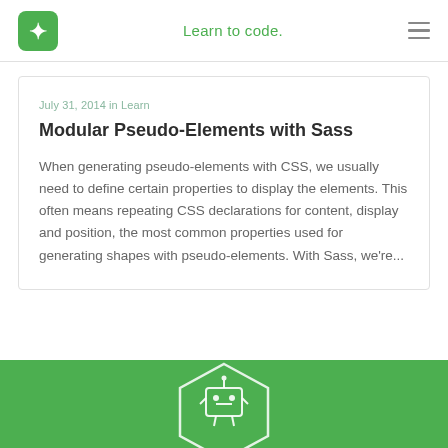Learn to code.
July 31, 2014 in Learn
Modular Pseudo-Elements with Sass
When generating pseudo-elements with CSS, we usually need to define certain properties to display the elements. This often means repeating CSS declarations for content, display and position, the most common properties used for generating shapes with pseudo-elements. With Sass, we're...
[Figure (illustration): Green banner with white hexagon badge icon at the bottom of the page]